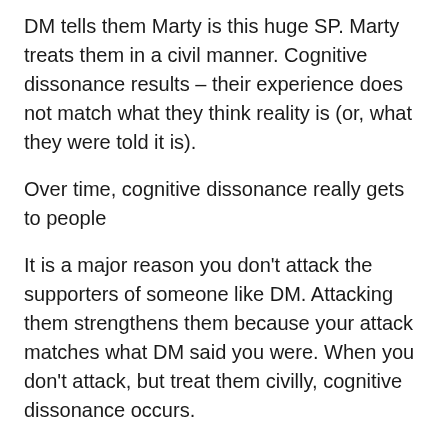DM tells them Marty is this huge SP. Marty treats them in a civil manner. Cognitive dissonance results – their experience does not match what they think reality is (or, what they were told it is).
Over time, cognitive dissonance really gets to people
It is a major reason you don't attack the supporters of someone like DM. Attacking them strengthens them because your attack matches what DM said you were. When you don't attack, but treat them civilly, cognitive dissonance occurs.
Yes, the party will try to reconcile the dissonance, but it is hard to do so over time, and